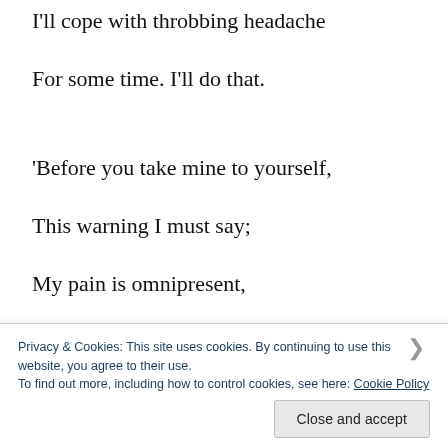I'll cope with throbbing headache
For some time. I'll do that.
'Before you take mine to yourself,
This warning I must say;
My pain is omnipresent,
It lives here night and day.
Privacy & Cookies: This site uses cookies. By continuing to use this website, you agree to their use.
To find out more, including how to control cookies, see here: Cookie Policy
Close and accept